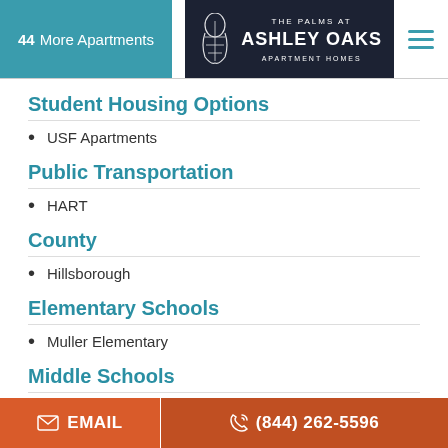44 More Apartments | The Palms at Ashley Oaks Apartment Homes
Student Housing Options
USF Apartments
Public Transportation
HART
County
Hillsborough
Elementary Schools
Muller Elementary
Middle Schools
Liberty Middle
High Schools
EMAIL | (844) 262-5596